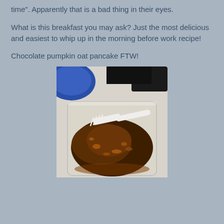time”. Apparently that is a bad thing in their eyes.
What is this breakfast you may ask? Just the most delicious and easiest to whip up in the morning before work recipe!
Chocolate pumpkin oat pancake FTW!
[Figure (photo): A dark brown chocolate pumpkin oat pancake in a clear plastic container with a white plastic fork resting on top. A blue bowl is visible in the upper left background.]